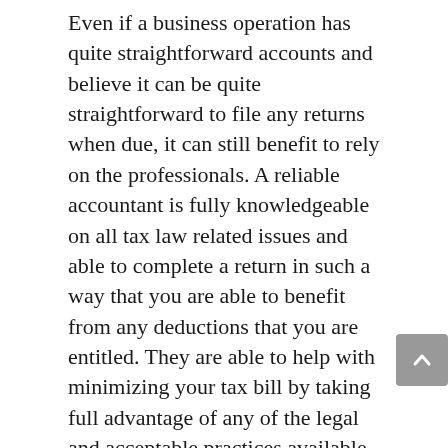Even if a business operation has quite straightforward accounts and believe it can be quite straightforward to file any returns when due, it can still benefit to rely on the professionals. A reliable accountant is fully knowledgeable on all tax law related issues and able to complete a return in such a way that you are able to benefit from any deductions that you are entitled. They are able to help with minimizing your tax bill by taking full advantage of any of the legal and acceptable practices available.
Grow the business
Accountants are able to offer advice and guidance of the best strategies for growing a business. By relying on the right managerial and financial